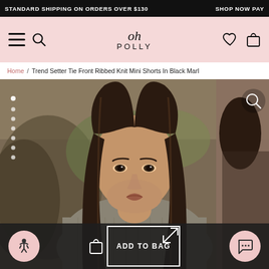STANDARD SHIPPING ON ORDERS OVER $130   SHOP NOW PAY
[Figure (logo): Oh Polly script logo with POLLY text in spaced caps, on pink background nav bar with hamburger menu, search, heart and bag icons]
Home / Trend Setter Tie Front Ribbed Knit Mini Shorts In Black Marl
[Figure (photo): Close-up of a female model with long straight dark hair wearing a grey ribbed knit top, outdoor rocky landscape background, with a secondary partial image of another model on the right edge]
ADD TO BAG